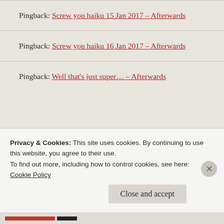Pingback: Screw you haiku 15 Jan 2017 – Afterwards
Pingback: Screw you haiku 16 Jan 2017 – Afterwards
Pingback: Well that's just super… – Afterwards
Privacy & Cookies: This site uses cookies. By continuing to use this website, you agree to their use.
To find out more, including how to control cookies, see here:
Cookie Policy
Close and accept